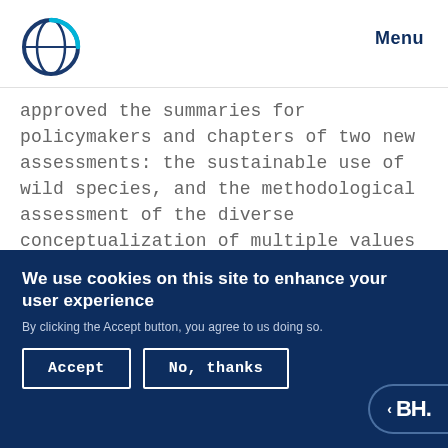Menu
approved the summaries for policymakers and chapters of two new assessments: the sustainable use of wild species, and the methodological assessment of the diverse conceptualization of multiple values of nature and its benefits, including biodiversity and ecosystem functions and services.
EVENT   2 July 2022 – 9 July 2022
We use cookies on this site to enhance your user experience
By clicking the Accept button, you agree to us doing so.
Accept
No, thanks